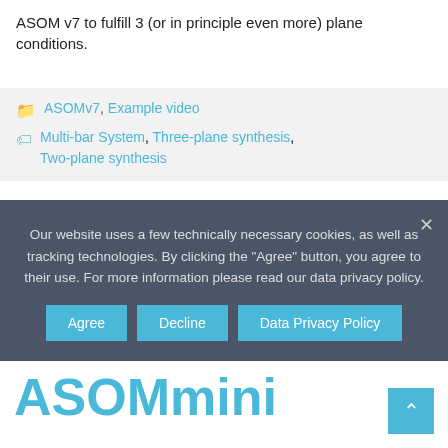ASOM v7 to fulfill 3 (or in principle even more) plane conditions.
ASOMv7, Example video
Multi-bar System, Three-plane synthesis, Two-plane synthesis
Our website uses a few technically necessary cookies, as well as tracking technologies. By clicking the "Agree" button, you agree to their use. For more information please read our data privacy policy.
manual force in ASOMmini